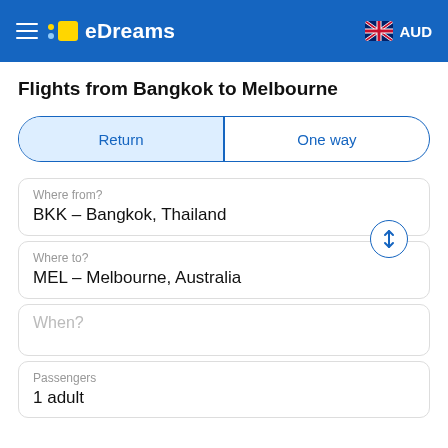eDreams  AUD
Flights from Bangkok to Melbourne
Return | One way
Where from?
BKK – Bangkok, Thailand
Where to?
MEL – Melbourne, Australia
When?
Passengers
1 adult